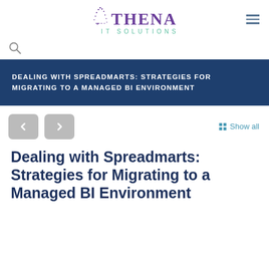[Figure (logo): Athena IT Solutions logo with purple text and teal subtitle]
[Figure (other): Hamburger menu icon (three horizontal lines)]
[Figure (other): Search magnifying glass icon]
DEALING WITH SPREADMARTS: STRATEGIES FOR MIGRATING TO A MANAGED BI ENVIRONMENT
[Figure (other): Previous arrow navigation button]
[Figure (other): Next arrow navigation button]
Show all
Dealing with Spreadmarts: Strategies for Migrating to a Managed BI Environment